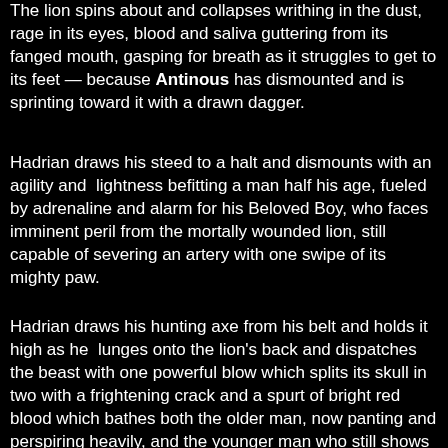The lion spins about and collapses writhing in the dust, rage in its eyes, blood and saliva guttering from its fanged mouth, gasping for breath as it struggles to get to its feet — because Antinous has dismounted and is sprinting toward it with a drawn dagger.
Hadrian draws his steed to a halt and dismounts with an agility and  lightness befitting a man half his age, fueled by adrenaline and alarm for his Beloved Boy, who faces imminent peril from the mortally wounded lion, still capable of severing an artery with one swipe of its mighty paw.
Hadrian draws his hunting axe from his belt and holds it high as he  lunges onto the lion's back and dispatches the beast with one powerful blow which splits its skull in two with a frightening crack and a spurt of bright red blood which bathes both the older man, now panting and perspiring heavily, and the younger man who still shows no visible expression of